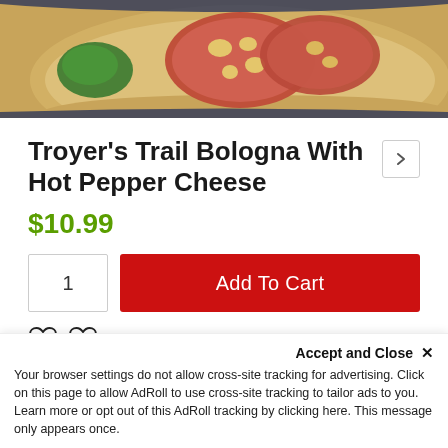[Figure (photo): Photo of Troyer's Trail Bologna With Hot Pepper Cheese — sliced sausage with visible cheese pieces on a plate with a green pepper]
Troyer's Trail Bologna With Hot Pepper Cheese
$10.99
Add To Cart (quantity: 1)
Add to wishlist
SKU SKU-167
Accept and Close ×
Your browser settings do not allow cross-site tracking for advertising. Click on this page to allow AdRoll to use cross-site tracking to tailor ads to you. Learn more or opt out of this AdRoll tracking by clicking here. This message only appears once.